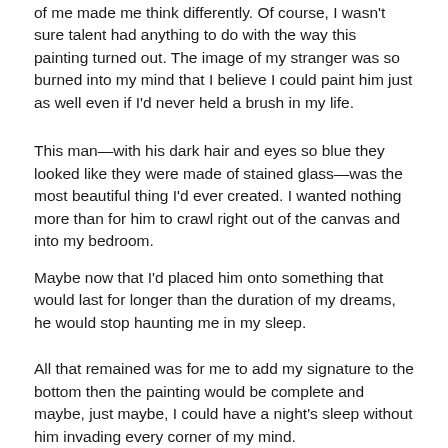of me made me think differently. Of course, I wasn't sure talent had anything to do with the way this painting turned out. The image of my stranger was so burned into my mind that I believe I could paint him just as well even if I'd never held a brush in my life.
This man—with his dark hair and eyes so blue they looked like they were made of stained glass—was the most beautiful thing I'd ever created. I wanted nothing more than for him to crawl right out of the canvas and into my bedroom.
Maybe now that I'd placed him onto something that would last for longer than the duration of my dreams, he would stop haunting me in my sleep.
All that remained was for me to add my signature to the bottom then the painting would be complete and maybe, just maybe, I could have a night's sleep without him invading every corner of my mind.